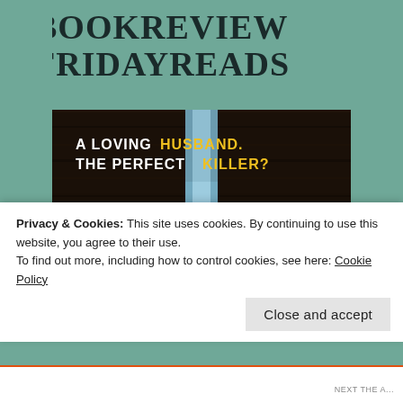#BOOKREVIEW
#FRIDAYREADS
[Figure (photo): Book cover showing 'BEST' in large yellow letters on a dark background with a blue ribbon bow. Text reads 'A LOVING HUSBAND. THE PERFECT KILLER?']
Privacy & Cookies: This site uses cookies. By continuing to use this website, you agree to their use.
To find out more, including how to control cookies, see here: Cookie Policy
Close and accept